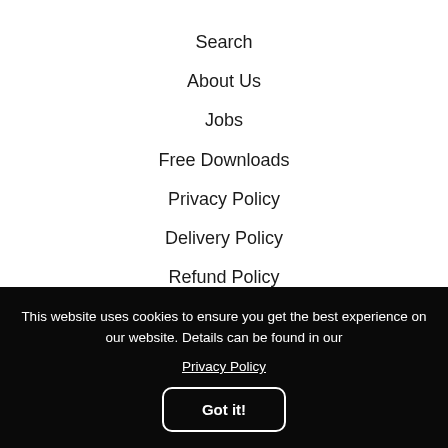Search
About Us
Jobs
Free Downloads
Privacy Policy
Delivery Policy
Refund Policy
Terms & Conditions
Follow Us
[Figure (infographic): Three social media icons: Facebook, Instagram, YouTube, displayed in blue-grey rounded square buttons]
This website uses cookies to ensure you get the best experience on our website. Details can be found in our Privacy Policy
Got it!